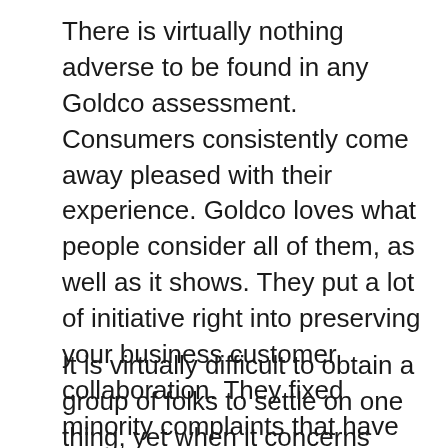There is virtually nothing adverse to be found in any Goldco assessment. Consumers consistently come away pleased with their experience. Goldco loves what people consider all of them, as well as it shows. They put a lot of initiative right into preserving your business customer collaboration. They fixed minority complaints that have actually ever before appeared before quickly.
It is virtually difficult to obtain a group of folks to settle on one thing, yet when it concerns Goldco, most provide it a luxury rating. That’s rather impressive.
Some commonness in between points people discuss in their assessments are the